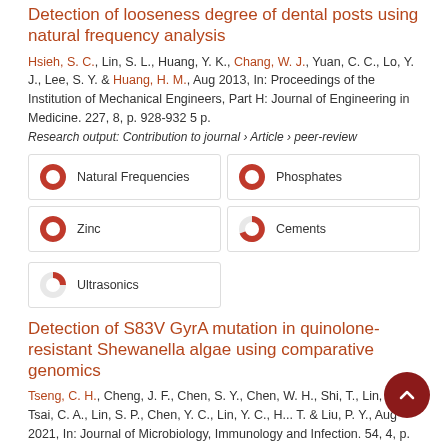Detection of looseness degree of dental posts using natural frequency analysis
Hsieh, S. C., Lin, S. L., Huang, Y. K., Chang, W. J., Yuan, C. C., Lo, Y. J., Lee, S. Y. & Huang, H. M., Aug 2013, In: Proceedings of the Institution of Mechanical Engineers, Part H: Journal of Engineering in Medicine. 227, 8, p. 928-932 5 p.
Research output: Contribution to journal › Article › peer-review
[Figure (infographic): Four keyword/topic badges in a 2x2 grid plus one badge below left. Each badge shows a red pie/donut icon with a percentage fill and a label. Badges: Natural Frequencies (100%), Phosphates (100%), Zinc (100%), Cements (65%), Ultrasonics (50%).]
Detection of S83V GyrA mutation in quinolone-resistant Shewanella algae using comparative genomics
Tseng, C. H., Cheng, J. F., Chen, S. Y., Chen, W. H., Shi, T., Lin, Y. H., Tsai, C. A., Lin, S. P., Chen, Y. C., Lin, Y. C., H... T. & Liu, P. Y., Aug 2021, In: Journal of Microbiology, Immunology and Infection. 54, 4, p. 658-6647 p.